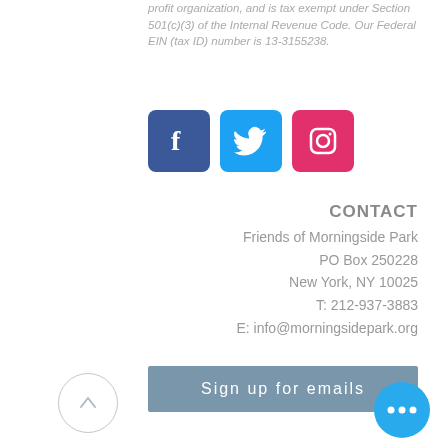profit organization, and is tax exempt under Section 501(c)(3) of the Internal Revenue Code. Our Federal EIN (tax ID) number is 13-3155238.
[Figure (other): Social media icons: Facebook (blue), Twitter (light blue), Instagram (pink/red)]
CONTACT
Friends of Morningside Park
PO Box 250228
New York, NY 10025
T: 212-937-3883
E: info@morningsidepark.org
[Figure (other): Sign up for emails button (blue-grey rectangle)]
[Figure (other): Back to top circular arrow button]
[Figure (other): More options button (blue circle with three dots)]